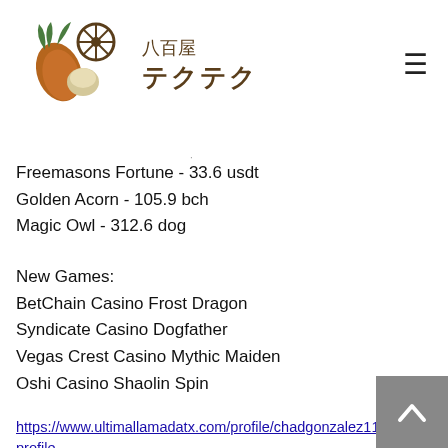[Figure (logo): 八百屋テクテク logo with vegetable icon and Japanese text]
Freemasons Fortune - 33.6 usdt
Golden Acorn - 105.9 bch
Magic Owl - 312.6 dog
New Games:
BetChain Casino Frost Dragon
Syndicate Casino Dogfather
Vegas Crest Casino Mythic Maiden
Oshi Casino Shaolin Spin
https://www.ultimallamadatx.com/profile/chadgonzalez11151581/profile
https://www.profilepicturestudio.com/profile/damiendago7080171/profile
https://www.zeusthrone.com/profile/margheally18461874/profile
https://www.ssabeautybar.com/profile/robtsu